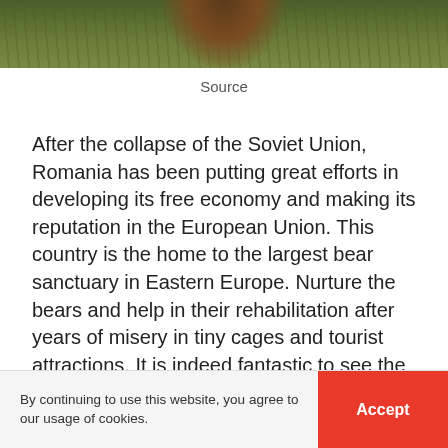[Figure (photo): Partial view of a bear in green grassy habitat, cropped at top of page]
Source
After the collapse of the Soviet Union, Romania has been putting great efforts in developing its free economy and making its reputation in the European Union. This country is the home to the largest bear sanctuary in Eastern Europe. Nurture the bears and help in their rehabilitation after years of misery in tiny cages and tourist attractions. It is indeed fantastic to see the animals living happily in their habitat.
By continuing to use this website, you agree to our usage of cookies.  Accept